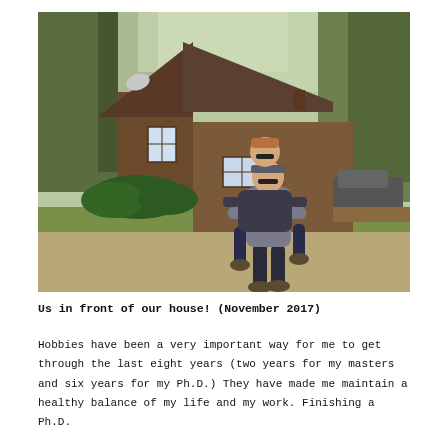[Figure (photo): Two people outdoors in front of a rustic wooden A-frame house surrounded by trees. One person is carrying the other on their back. The setting appears to be autumn, with fallen leaves and green shrubs visible. The photo is taken in November 2017.]
Us in front of our house! (November 2017)
Hobbies have been a very important way for me to get through the last eight years (two years for my masters and six years for my Ph.D.) They have made me maintain a healthy balance of my life and my work. Finishing a Ph.D.